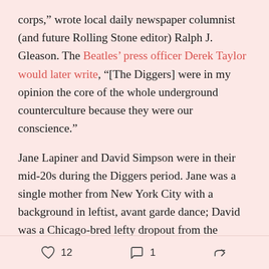corps," wrote local daily newspaper columnist (and future Rolling Stone editor) Ralph J. Gleason. The Beatles' press officer Derek Taylor would later write, "[The Diggers] were in my opinion the core of the whole underground counterculture because they were our conscience."
Jane Lapiner and David Simpson were in their mid-20s during the Diggers period. Jane was a single mother from New York City with a background in leftist, avant garde dance; David was a Chicago-bred lefty dropout from the University of Wisconsin, who'd been a competitive boxer in high school, shared a house with pre-stardom Steve Miller and Boz Scaggs, served in the Coast Guard and was trimming trees in the East
♡ 12   💬 1   ➤